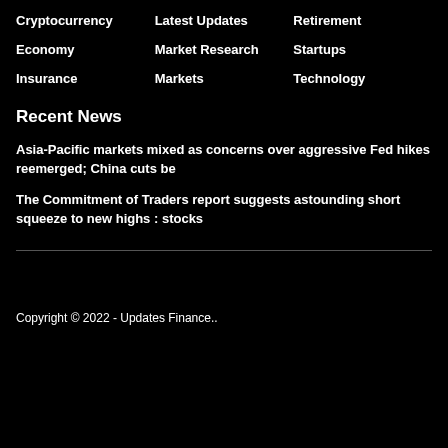Cryptocurrency
Latest Updates
Retirement
Economy
Market Research
Startups
Insurance
Markets
Technology
Recent News
Asia-Pacific markets mixed as concerns over aggressive Fed hikes reemerged; China cuts be
The Commitment of Traders report suggests astounding short squeeze to new highs : stocks
Copyright © 2022 - Updates Finance..